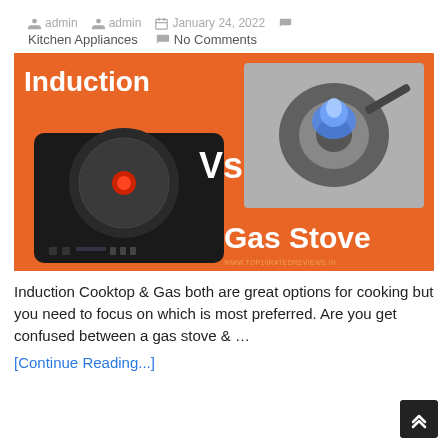admin   admin   January 24, 2022
Kitchen Appliances   No Comments
[Figure (infographic): Induction Cooktop vs Gas Stove comparison infographic on orange background. Left side shows a black induction cooktop with red indicator, labeled 'Induction'. Right side shows a gas stove burner with blue flame, labeled 'Gas Stove'. Center shows 'Vs' in white text. Bottom shows watermark: www.top10ratedreviews.in]
Induction Cooktop & Gas both are great options for cooking but you need to focus on which is most preferred. Are you get confused between a gas stove & …
[Continue Reading...]